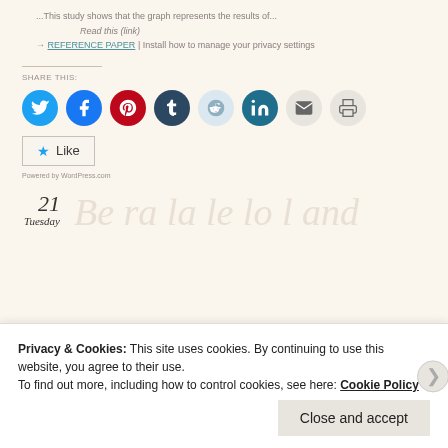Privacy & Cookies: This site uses cookies. By continuing to use this website, you agree to their use. To find out more, including how to control cookies, see here: Cookie Policy
Close and accept
21 Tuesday
Like
Share this:
Powered by WordPress.com